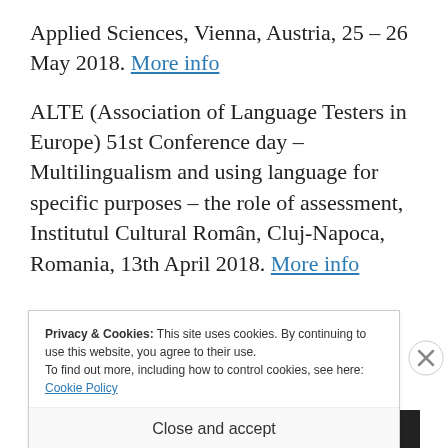Applied Sciences, Vienna, Austria, 25 – 26 May 2018. More info
ALTE (Association of Language Testers in Europe) 51st Conference day – Multilingualism and using language for specific purposes – the role of assessment, Institutul Cultural Român, Cluj-Napoca, Romania, 13th April 2018. More info
Privacy & Cookies: This site uses cookies. By continuing to use this website, you agree to their use. To find out more, including how to control cookies, see here: Cookie Policy
Close and accept